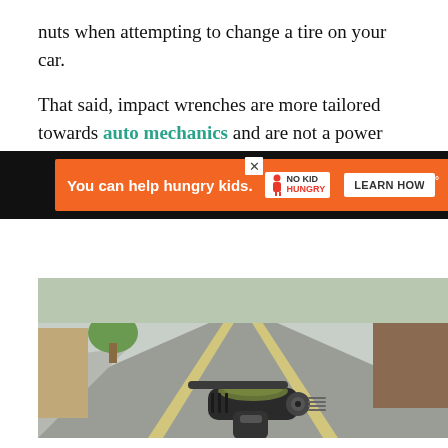nuts when attempting to change a tire on your car.
That said, impact wrenches are more tailored towards auto mechanics and are not a power tool that the majority of DIYers would consider adding to their shopping list.
[Figure (photo): Photo of a power tool (impact wrench or similar) lying on a street surface, view from above looking down a road with buildings in background]
You can help hungry kids. NO KID HUNGRY LEARN HOW